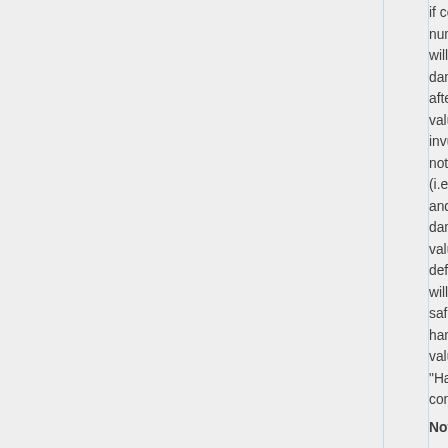if co num will e dam after valu invu not s (i.e n and/ dam valu defa will b safe han valu "Ha cons
Not